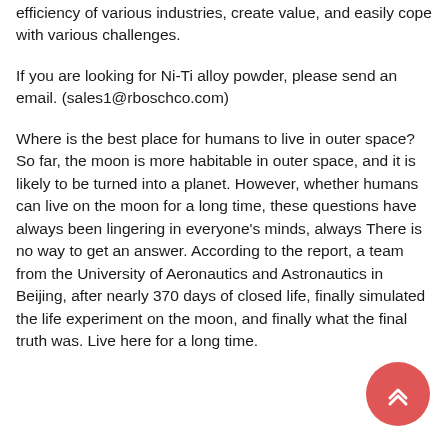efficiency of various industries, create value, and easily cope with various challenges.
If you are looking for Ni-Ti alloy powder, please send an email. (sales1@rboschco.com)
Where is the best place for humans to live in outer space? So far, the moon is more habitable in outer space, and it is likely to be turned into a planet. However, whether humans can live on the moon for a long time, these questions have always been lingering in everyone's minds, always There is no way to get an answer. According to the report, a team from the University of Aeronautics and Astronautics in Beijing, after nearly 370 days of closed life, finally simulated the life experiment on the moon, and finally what the final truth was. Live here for a long time.